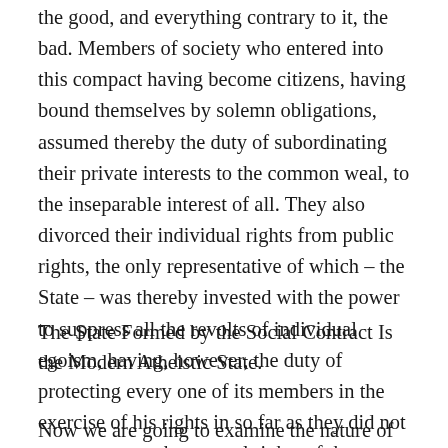the good, and everything contrary to it, the bad. Members of society who entered into this compact having become citizens, having bound themselves by solemn obligations, assumed thereby the duty of subordinating their private interests to the common weal, to the inseparable interest of all. They also divorced their individual rights from public rights, the only representative of which – the State – was thereby invested with the power to suppress all the revolts of individual egoism, having, however, the duty of protecting every one of its members in the exercise of his rights in so far as they did not run counter to the general rights of the community.
The State Formed by the Social Contract Is the Modern Atheistic State.
Now we are going to examine the nature of the